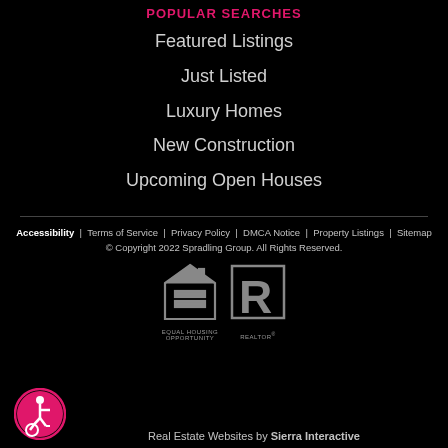POPULAR SEARCHES
Featured Listings
Just Listed
Luxury Homes
New Construction
Upcoming Open Houses
Accessibility | Terms of Service | Privacy Policy | DMCA Notice | Property Listings | Sitemap
© Copyright 2022 Spradling Group. All Rights Reserved.
[Figure (logo): Equal Housing Opportunity logo]
[Figure (logo): REALTOR® logo]
[Figure (logo): Accessibility icon - person in wheelchair]
Real Estate Websites by Sierra Interactive